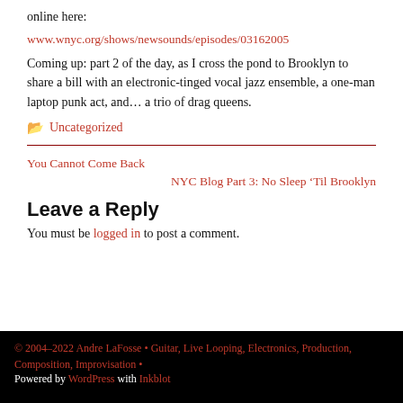online here:
www.wnyc.org/shows/newsounds/episodes/03162005
Coming up: part 2 of the day, as I cross the pond to Brooklyn to share a bill with an electronic-tinged vocal jazz ensemble, a one-man laptop punk act, and… a trio of drag queens.
Uncategorized
You Cannot Come Back
NYC Blog Part 3: No Sleep ‘Til Brooklyn
Leave a Reply
You must be logged in to post a comment.
© 2004–2022 Andre LaFosse • Guitar, Live Looping, Electronics, Production, Composition, Improvisation • Powered by WordPress with Inkblot